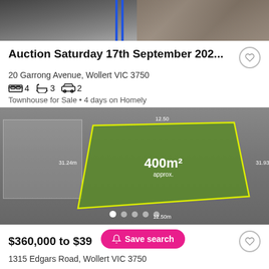[Figure (photo): Top portion of a property photo showing stone wall and outdoor area, partially cropped]
Auction Saturday 17th September 202...
20 Garrong Avenue, Wollert VIC 3750
4 bedrooms  3 bathrooms  2 cars
Townhouse for Sale  •  4 days on Homely
[Figure (photo): Aerial photograph of a green rectangular plot of land (400m² approx.) outlined in yellow, surrounded by grey land. Dimensions shown: 12.50m width at top, 31.24m left side, 31.93m right side, 12.50m at bottom. Carousel dots shown at bottom.]
$360,000 to $39...
1315 Edgars Road, Wollert VIC 3750